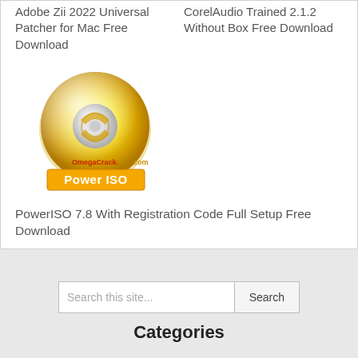Adobe Zii 2022 Universal Patcher for Mac Free Download
CorelAudio Trained 2.1.2 Without Box Free Download
[Figure (logo): PowerISO logo — gold/silver CD disc with OmegaCrack.com branding and orange Power ISO banner below]
PowerISO 7.8 With Registration Code Full Setup Free Download
Search this site...
Categories